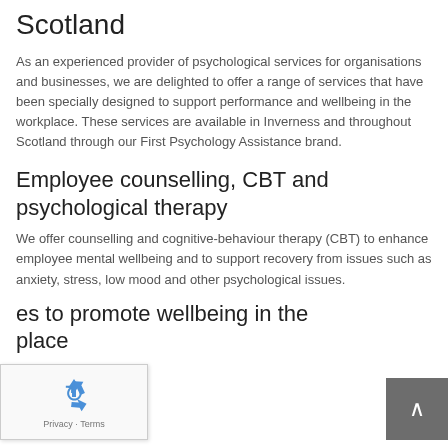Scotland
As an experienced provider of psychological services for organisations and businesses, we are delighted to offer a range of services that have been specially designed to support performance and wellbeing in the workplace. These services are available in Inverness and throughout Scotland through our First Psychology Assistance brand.
Employee counselling, CBT and psychological therapy
We offer counselling and cognitive-behaviour therapy (CBT) to enhance employee mental wellbeing and to support recovery from issues such as anxiety, stress, low mood and other psychological issues.
es to promote wellbeing in the
place
[Figure (other): reCAPTCHA widget overlay showing recycling arrows logo with Privacy and Terms text]
[Figure (other): Scroll-to-top button, dark grey square with white upward chevron arrow]